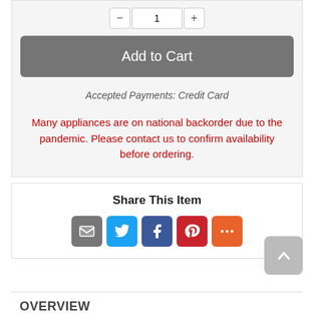Add to Cart
Accepted Payments: Credit Card
Many appliances are on national backorder due to the pandemic. Please contact us to confirm availability before ordering.
Share This Item
[Figure (infographic): Social share icons: Email (grey), Twitter (blue), Facebook (dark blue), Pinterest (red), More (orange)]
OVERVIEW